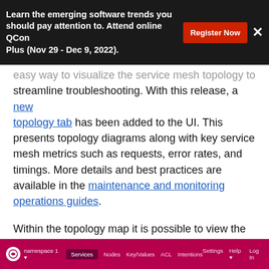Learn the emerging software trends you should pay attention to. Attend online QCon Plus (Nov 29 - Dec 9, 2022).
easy way to visualize the service mesh topology to streamline troubleshooting. With this release, a new topology tab has been added to the UI. This presents topology diagrams along with key service mesh metrics such as requests, error rates, and timings. More details and best practices are available in the maintenance and monitoring operations guides.
Within the topology map it is possible to view the interactions between services within the mesh. An explicit deny will appear as a red line with an x between the two services. It is possible to adjust denies to allow via the topology map.
[Figure (screenshot): Screenshot of a Consul service mesh UI navigation bar showing logo, namespace selector, Services tab (active), Nodes, Key/Values, ACL, Intentions tabs, and Settings, Help, Log In on the right, on a dark pink/magenta background.]